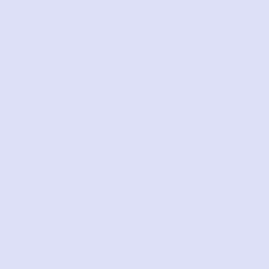width="220" height="148" /> </div> </u><br/> <a href="http://pt.saletimberlandaustralia.com/timberland-6-inch-b-para-as-mulheres-venda-no-reino-unido-p-2.html">Timberland branco para as Mulheres venda no Reino Unido</a><br /><span class="normalprice">$262.00 </span>&nbsp;<span class="productSpecialPrice">$73.00</span><span class="prod<br />Poupe:&nbsp;72% menos</span></div>
<br class="clearBoth" />
</div>
<div class="centerBoxWrapper" id="specialsDefault">
<h2 class="centerBoxHeading">Especiais do mÃŞs em Agosto class="centerBoxContentsSpecials centeredContent back" style= href="http://pt.saletimberlandaustralia.com/timberland-6-inch-b-para-as-mulheres-venda-no-reino-unido-p-2.html"><div style="middle;height:86px"><img
src="http://pt.saletimberlandaustralia.com/images/_small//timb